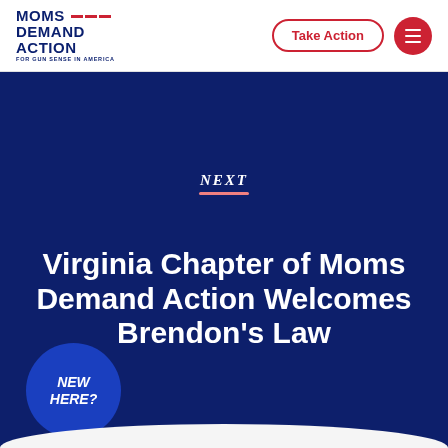MOMS DEMAND ACTION FOR GUN SENSE IN AMERICA
Take Action
NEXT
Virginia Chapter of Moms Demand Action Welcomes Brendon's Law
March 5, 2014
NEW HERE?